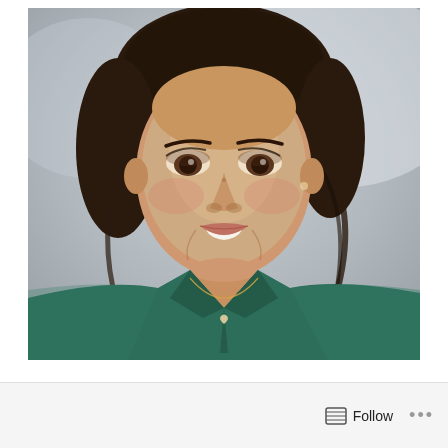[Figure (photo): Portrait photo of a woman with dark brown hair pulled back, wearing a dark green collared shirt/blouse and a delicate heart pendant necklace. She is smiling, has brown eyes, and is photographed against a soft blurred background.]
Follow ...